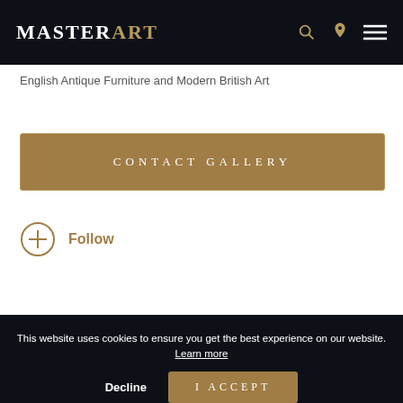MASTERART
English Antique Furniture and Modern British Art
CONTACT GALLERY
Follow
More Works From This
This website uses cookies to ensure you get the best experience on our website. Learn more
Decline
I ACCEPT